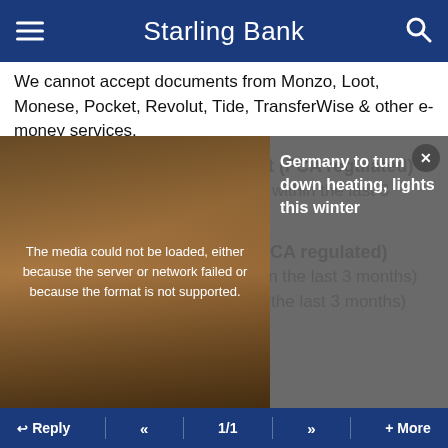Starling Bank
We cannot accept documents from Monzo, Loot, Monese, Pocket, Revolut, Tide, TransferWise & other e-money services.
- International Bank Statement (FCA regulated)
Current account statement (dated within the last 3 months)
- Other Financial Statement (FCA regulated)
Credit card statement (dated within the last 3 months)
Mortgage statement (dated within the last 3 months)
- Utility Bill
[Figure (screenshot): Media error overlay showing 'The media could not be loaded, either because the server or network failed or because the format is not supported.' with a news thumbnail showing 'Germany to turn down heating, lights this winter']
Reply  <<  1/1  >>  + More